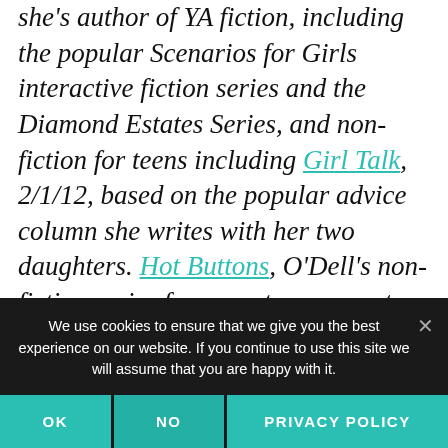she's author of YA fiction, including the popular Scenarios for Girls interactive fiction series and the Diamond Estates Series, and non-fiction for teens including Girl Talk, 2/1/12, based on the popular advice column she writes with her two daughters. Hot Buttons, O'Dell's non-fiction series for parents, pre-empts peer pressure by tackling tough issues and was recently endorsed by Focus on the Family.
We use cookies to ensure that we give you the best experience on our website. If you continue to use this site we will assume that you are happy with it.